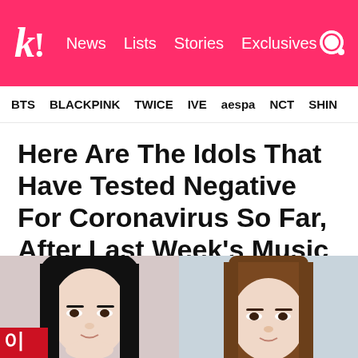k! News Lists Stories Exclusives
BTS  BLACKPINK  TWICE  IVE  aespa  NCT  SHINe
Here Are The Idols That Have Tested Negative For Coronavirus So Far, After Last Week's Music Shows
Many are still waiting for results.
[Figure (photo): Two photos of female K-pop idols, side by side. Left: young woman with long black hair, fair skin, looking slightly downward. Right: young woman with medium brown straight hair, fair skin, looking forward.]